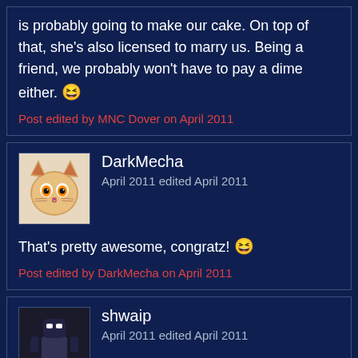is probably going to make our cake. On top of that, she's also licensed to marry us. Being a friend, we probably won't have to pay a dime either. 😆
Post edited by MNC Dover on April 2011
DarkMecha
April 2011 edited April 2011
That's pretty awesome, congratz! 😆
Post edited by DarkMecha on April 2011
shwaip
April 2011 edited April 2011
zvt after lair/speed I go:
2x evo immediately, lets me go melee/armor ups asap
bane nest
infestor pit when lair finishes